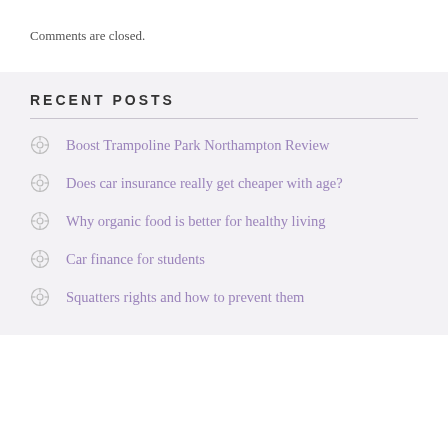Comments are closed.
RECENT POSTS
Boost Trampoline Park Northampton Review
Does car insurance really get cheaper with age?
Why organic food is better for healthy living
Car finance for students
Squatters rights and how to prevent them